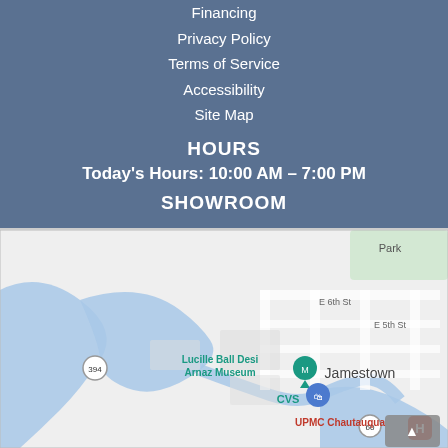Financing
Privacy Policy
Terms of Service
Accessibility
Site Map
HOURS
Today's Hours: 10:00 AM – 7:00 PM
SHOWROOM
[Figure (map): Google Maps view of Jamestown, NY area showing Lucille Ball Desi Arnaz Museum, CVS, UPMC Chautauqua, and route 394 and 60 markers.]